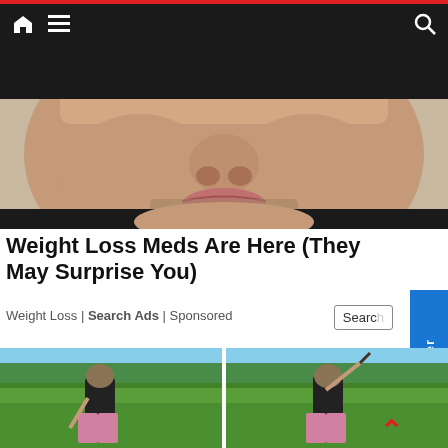Navigation bar with home, menu, and search icons
[Figure (photo): Close-up face of an overweight man with facial stubble, wearing a dark shirt, looking at camera]
Weight Loss Meds Are Here (They May Surprise You)
Weight Loss | Search Ads | Sponsored
[Figure (photo): Two side-by-side photos of a blonde woman in athletic wear swinging a golf club on a green field]